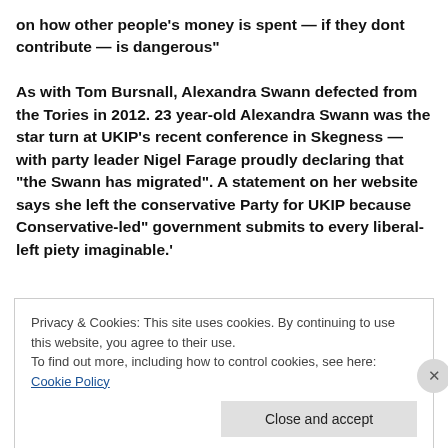on how other people's money is spent — if they dont contribute — is dangerous"

As with Tom Bursnall, Alexandra Swann defected from the Tories in 2012. 23 year-old Alexandra Swann was the star turn at UKIP's recent conference in Skegness — with party leader Nigel Farage proudly declaring that “the Swann has migrated”. A statement on her website says she left the conservative Party for UKIP because Conservative-led” government submits to every liberal-left piety imaginable.’
Privacy & Cookies: This site uses cookies. By continuing to use this website, you agree to their use.
To find out more, including how to control cookies, see here: Cookie Policy